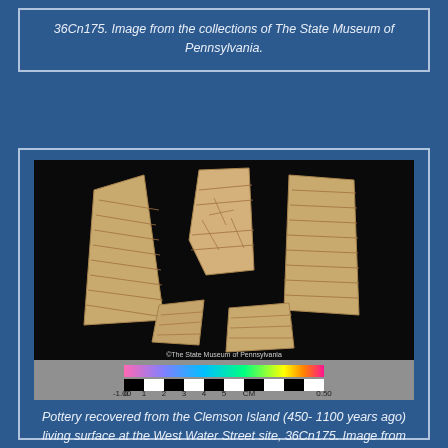36Cn175. Image from the collections of The State Museum of Pennsylvania.
[Figure (photo): Pottery sherds recovered from the Clemson Island living surface at the West Water Street site, 36Cn175. Five pottery fragments with cord-marked or textile-impressed surfaces arranged on a black background, with a color scale bar and metric ruler at the bottom. Photo credit: The State Museum of Pennsylvania.]
Pottery recovered from the Clemson Island (450- 1100 years ago) living surface at the West Water Street site, 36Cn175. Image from the collections of The State Museum of Pennsylvania.